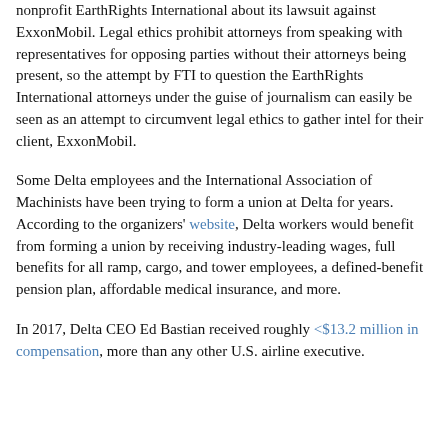nonprofit EarthRights International about its lawsuit against ExxonMobil. Legal ethics prohibit attorneys from speaking with representatives for opposing parties without their attorneys being present, so the attempt by FTI to question the EarthRights International attorneys under the guise of journalism can easily be seen as an attempt to circumvent legal ethics to gather intel for their client, ExxonMobil.
Some Delta employees and the International Association of Machinists have been trying to form a union at Delta for years. According to the organizers' website, Delta workers would benefit from forming a union by receiving industry-leading wages, full benefits for all ramp, cargo, and tower employees, a defined-benefit pension plan, affordable medical insurance, and more.
In 2017, Delta CEO Ed Bastian received roughly $13.2 million in compensation, more than any other U.S. airline executive.